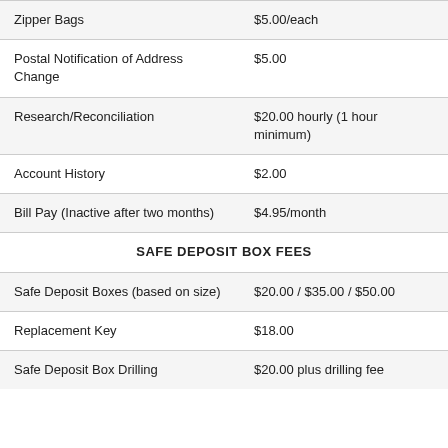| Item | Fee |
| --- | --- |
| Zipper Bags | $5.00/each |
| Postal Notification of Address Change | $5.00 |
| Research/Reconciliation | $20.00 hourly (1 hour minimum) |
| Account History | $2.00 |
| Bill Pay (Inactive after two months) | $4.95/month |
| SAFE DEPOSIT BOX FEES |  |
| Safe Deposit Boxes (based on size) | $20.00 / $35.00 / $50.00 |
| Replacement Key | $18.00 |
| Safe Deposit Box Drilling | $20.00 plus drilling fee |